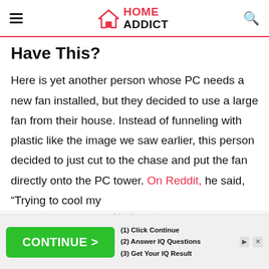HOME ADDICT
Have This?
Here is yet another person whose PC needs a new fan installed, but they decided to use a large fan from their house. Instead of funneling with plastic like the image we saw earlier, this person decided to just cut to the chase and put the fan directly onto the PC tower. On Reddit, he said, "Trying to cool my
Advertisement
[Figure (other): Advertisement banner with green CONTINUE button and IQ quiz steps]